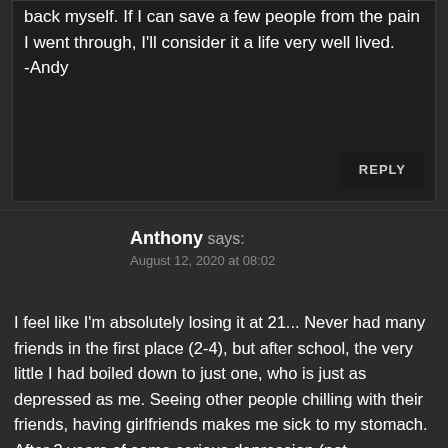back myself. If I can save a few people from the pain I went through, I'll consider it a life very well lived. -Andy
REPLY
Anthony says:
August 12, 2020 at 08:02
I feel like I'm absolutely losing it at 21... Never had many friends in the first place (2-4), but after school, the very little I had boiled down to just one, who is just as depressed as me. Seeing other people chilling with their friends, having girlfriends makes me sick to my stomach. After 3 years of some serious depression (not